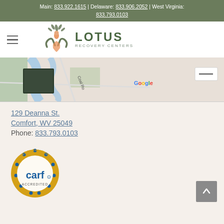Main: 833.922.1615 | Delaware: 833.906.2052 | West Virginia: 833.793.0103
[Figure (logo): Lotus Recovery Centers logo with stylized tree/hands and person icon]
[Figure (map): Google Maps screenshot showing Coal River area near Comfort, WV]
129 Deanna St.
Comfort, WV 25049
Phone: 833.793.0103
[Figure (illustration): CARF Accredited - ASPIRE to Excellence gold seal badge]